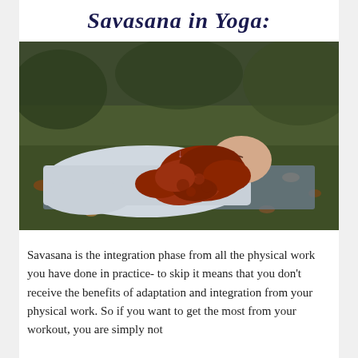Savasana in Yoga:
[Figure (photo): A woman with curly red hair lying on her back on a yoga mat outdoors on grass with autumn leaves, wearing a white top, eyes closed, in Savasana pose.]
Savasana is the integration phase from all the physical work you have done in practice- to skip it means that you don't receive the benefits of adaptation and integration from your physical work. So if you want to get the most from your workout, you are simply not